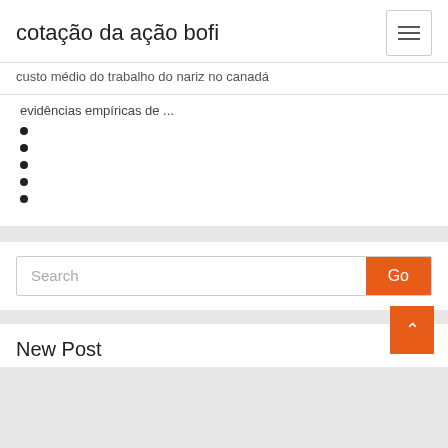cotação da ação bofi
custo médio do trabalho do nariz no canadá
evidências empíricas de ...
Search
New Post